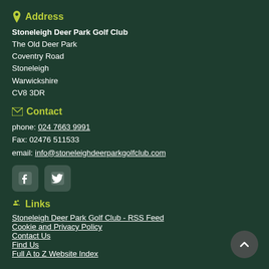Address
Stoneleigh Deer Park Golf Club
The Old Deer Park
Coventry Road
Stoneleigh
Warwickshire
CV8 3DR
Contact
phone: 024 7663 9991
Fax: 02476 511533
email: info@stoneleighdeerparkgolfclub.com
[Figure (illustration): Facebook and Twitter social media icon buttons]
Links
Stoneleigh Deer Park Golf Club - RSS Feed
Cookie and Privacy Policy
Contact Us
Find Us
Full A to Z Website Index